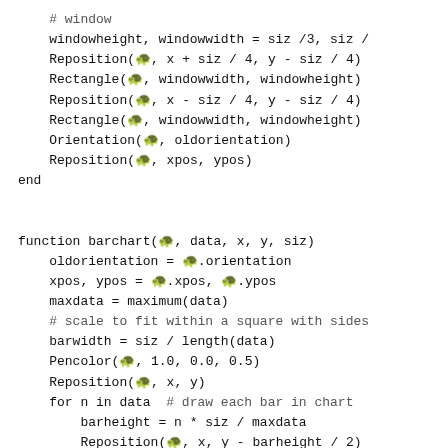# window
    windowheight, windowwidth = siz /3, siz /
    Reposition(🐢, x + siz / 4, y - siz / 4)
    Rectangle(🐢, windowwidth, windowheight)
    Reposition(🐢, x - siz / 4, y - siz / 4)
    Rectangle(🐢, windowwidth, windowheight)
    Orientation(🐢, oldorientation)
    Reposition(🐢, xpos, ypos)
end


function barchart(🐢, data, x, y, siz)
    oldorientation = 🐢.orientation
    xpos, ypos = 🐢.xpos, 🐢.ypos
    maxdata = maximum(data)
    # scale to fit within a square with sides
    barwidth = siz / length(data)
    Pencolor(🐢, 1.0, 0.0, 0.5)
    Reposition(🐢, x, y)
    for n in data  # draw each bar in chart
        barheight = n * siz / maxdata
        Reposition(🐢, x, y - barheight / 2)
        Rectangle(🐢, barwidth, barheight)
        x += barwidth
    end